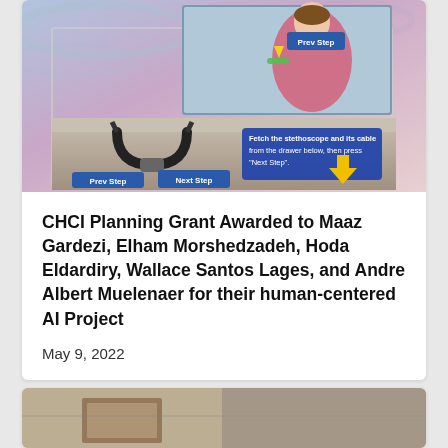[Figure (screenshot): A virtual reality medical training simulation screenshot showing a 3D environment with a stethoscope on a table, a virtual female character in pink scrubs with a 'Prev Step' button near her arm, a blue instruction panel reading 'Fetch the stethoscope and its cable from the drawer below, then press Next Step', a yellow downward arrow indicator, and 'Prev Step' and 'Next Step' blue navigation buttons at the bottom.]
CHCI Planning Grant Awarded to Maaz Gardezi, Elham Morshedzadeh, Hoda Eldardiry, Wallace Santos Lages, and Andre Albert Muelenaer for their human-centered AI Project
May 9, 2022
[Figure (photo): Partial view of a second article card showing a photo at the bottom of the page, cropped.]